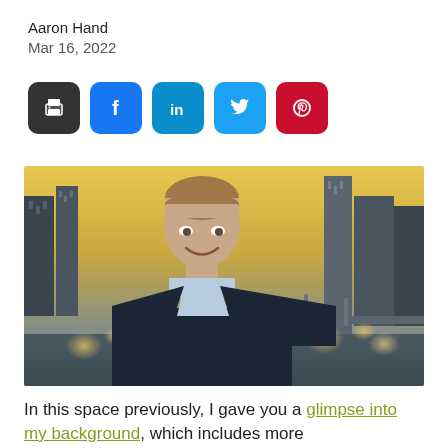Aaron Hand
Mar 16, 2022
[Figure (illustration): Social media share buttons: print (black), Facebook (blue), LinkedIn (blue), Twitter (light blue), Pinterest (red)]
[Figure (photo): Professional headshot of a smiling man in a dark blazer and light blue shirt, standing in front of a city skyline with blurred buildings and bokeh lights]
In this space previously, I gave you a glimpse into my background, which includes more